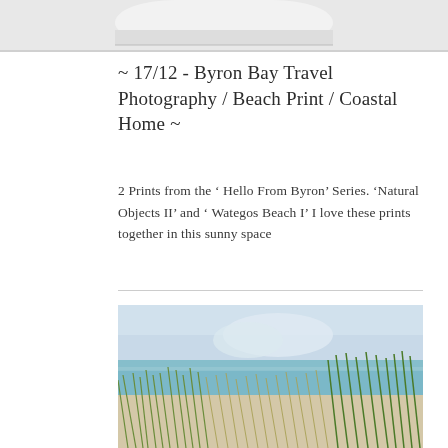[Figure (photo): Top portion of a photo showing the bottom edge of a framed print or artwork, partially visible at the top of the page, with a white/light background]
~ 17/12 - Byron Bay Travel Photography / Beach Print / Coastal Home ~
2 Prints from the ‘ Hello From Byron’ Series. ‘Natural Objects II’ and ‘ Wategos Beach I’ I love these prints together in this sunny space
[Figure (photo): Coastal beach photograph showing green sea grass or dune grass in the foreground with a blurred turquoise ocean and overcast sky in the background at Wategos Beach, Byron Bay]